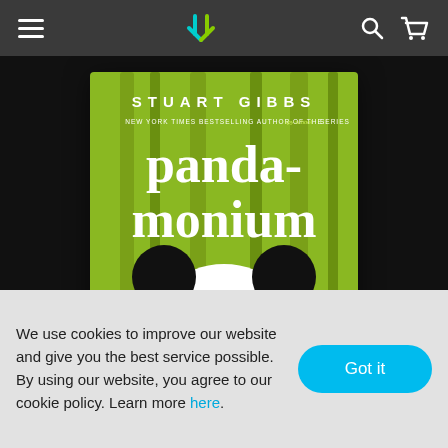Navigation bar with hamburger menu, download logo, search and cart icons
[Figure (photo): Audiobook cover for 'Pandamonium' by Stuart Gibbs. Green background with bamboo, large white text 'panda-monium', author name 'STUART GIBBS' at top, subtitle 'New York Times bestselling author of the Spy School series', stylized panda face illustration, 'Read by Gibson Frazier' text in bottom right corner.]
We use cookies to improve our website and give you the best service possible. By using our website, you agree to our cookie policy. Learn more here.